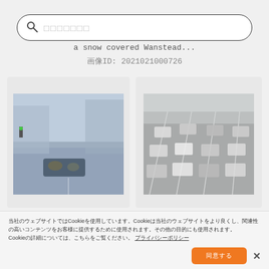[Figure (screenshot): Search bar with magnifier icon and placeholder text in Japanese characters]
a snow covered Wanstead...
画像ID: 2021021000726
[Figure (photo): Misty road scene with cars driving with headlights on in foggy/winter conditions]
[Figure (photo): Aerial view of highway traffic with multiple lanes of cars in foggy/rainy conditions]
[Figure (infographic): Shopping cart button and star/favorite button below first photo]
[Figure (infographic): Shopping cart button and star/favorite button below second photo]
当社のウェブサイトではCookieを使用しています。Cookieは当社のウェブサイトをより良くし、関連性の高いコンテンツをお客様に提供するために使用されます。Cookieの詳細については、こちらをご覧ください。 プライバシーポリシー